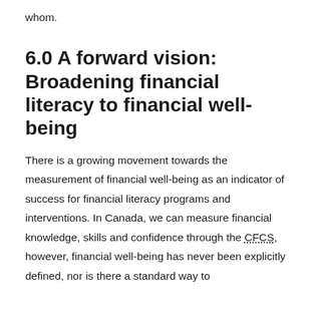whom.
6.0 A forward vision: Broadening financial literacy to financial well-being
There is a growing movement towards the measurement of financial well-being as an indicator of success for financial literacy programs and interventions. In Canada, we can measure financial knowledge, skills and confidence through the CFCS, however, financial well-being has never been explicitly defined, nor is there a standard way to